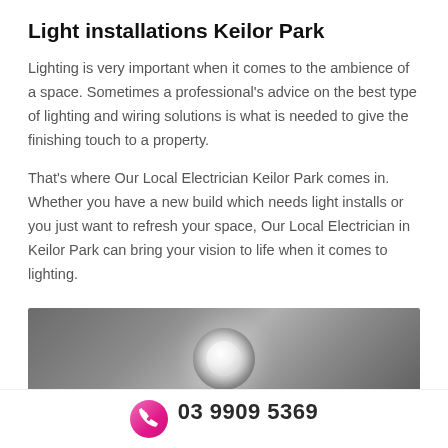Light installations Keilor Park
Lighting is very important when it comes to the ambience of a space. Sometimes a professional's advice on the best type of lighting and wiring solutions is what is needed to give the finishing touch to a property.
That's where Our Local Electrician Keilor Park comes in. Whether you have a new build which needs light installs or you just want to refresh your space, Our Local Electrician in Keilor Park can bring your vision to life when it comes to lighting.
[Figure (photo): Close-up photo of a recessed LED downlight installed in a grey ceiling, viewed from below at an angle.]
03 9909 5369